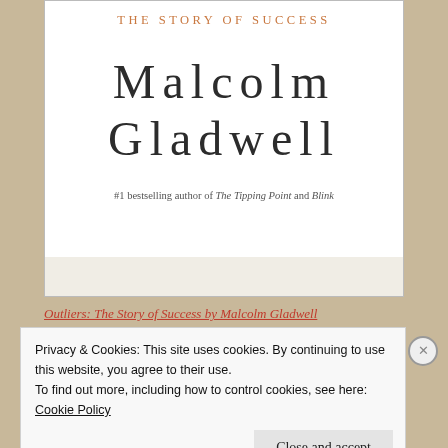THE STORY OF SUCCESS
[Figure (illustration): Book cover of Outliers by Malcolm Gladwell showing author name in large serif type and subtitle 'The Story of Success']
#1 bestselling author of The Tipping Point and Blink
Outliers: The Story of Success by Malcolm Gladwell
Privacy & Cookies: This site uses cookies. By continuing to use this website, you agree to their use. To find out more, including how to control cookies, see here: Cookie Policy
Close and accept